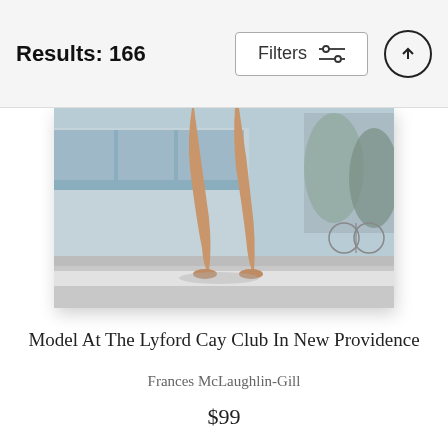Results: 166
Filters
[Figure (photo): Black and white photograph showing the legs of a female model walking, taken at the Lyford Cay Club in New Providence. The background shows a modernist building and outdoor pool area.]
Model At The Lyford Cay Club In New Providence
Frances McLaughlin-Gill
$99
Janice Dickinson Wearing Purple Top And Skirt
Henri P. Herzt